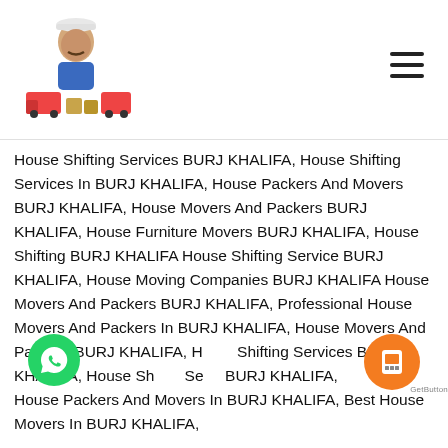[Figure (logo): Logo with a man in blue uniform standing above moving trucks and boxes, wearing a white cap]
House Shifting Services BURJ KHALIFA, House Shifting Services In BURJ KHALIFA, House Packers And Movers BURJ KHALIFA, House Movers And Packers BURJ KHALIFA, House Furniture Movers BURJ KHALIFA, House Shifting BURJ KHALIFA House Shifting Service BURJ KHALIFA, House Moving Companies BURJ KHALIFA House Movers And Packers BURJ KHALIFA, Professional House Movers And Packers In BURJ KHALIFA, House Movers And Packers BURJ KHALIFA, House Shifting Services BURJ KHALIFA, House Shifting Services BURJ KHALIFA, House Packers And Movers In BURJ KHALIFA, Best House Movers In BURJ KHALIFA,